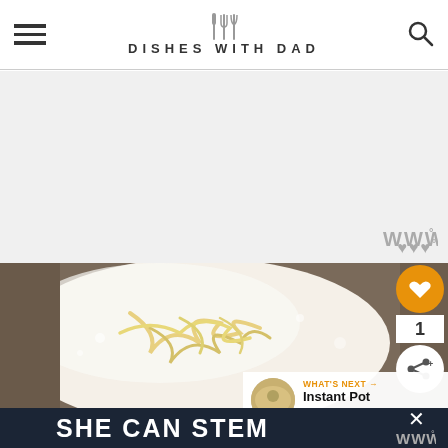DISHES WITH DAD
[Figure (screenshot): Gray advertisement placeholder area with WW degree logo in bottom right corner]
[Figure (photo): Close-up photo of shredded cheese melting into a creamy white sauce in a pot or bowl, viewed from above]
1
WHAT'S NEXT → Instant Pot Farro
SHE CAN STEM